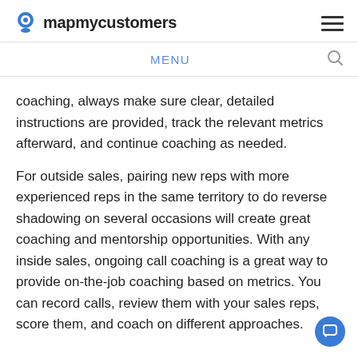mapmycustomers
MENU
coaching, always make sure clear, detailed instructions are provided, track the relevant metrics afterward, and continue coaching as needed.
For outside sales, pairing new reps with more experienced reps in the same territory to do reverse shadowing on several occasions will create great coaching and mentorship opportunities. With any inside sales, ongoing call coaching is a great way to provide on-the-job coaching based on metrics. You can record calls, review them with your sales reps, score them, and coach on different approaches.